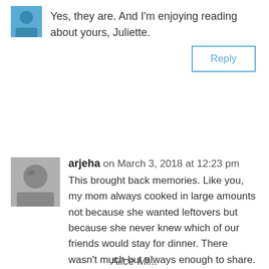Yes, they are. And I'm enjoying reading about yours, Juliette.
Reply
arjeha on March 3, 2018 at 12:23 pm
This brought back memories. Like you, my mom always cooked in large amounts not because she wanted leftovers but because she never knew which of our friends would stay for dinner. There wasn't much but always enough to share. For us it was the Slovak food, halushki, halupki, anything that made a roaster full.
Reply